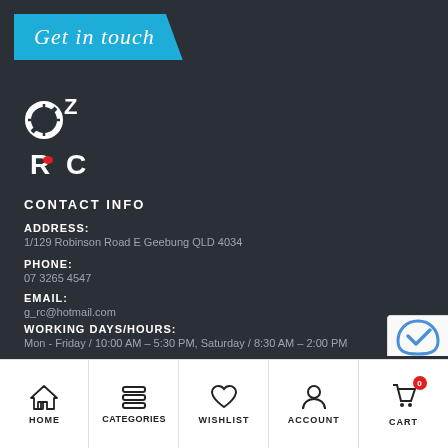Get in touch
[Figure (logo): OZ RC logo — stylized letters OZ over RC in white and red on dark background]
CONTACT INFO
ADDRESS:
1/129 Robinson Road E Geebung QLD 4034
PHONE:
07 3265 4547
EMAIL:
g_rc@hotmail.com
WORKING DAYS/HOURS:
Mon - Friday / 10:00 AM - 5:30 PM, Saturday / 8:30 AM - 2:00 PM
HOME  CATEGORIES  WISHLIST  ACCOUNT  CART